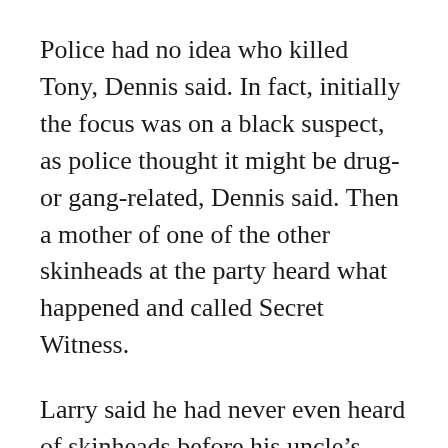Police had no idea who killed Tony, Dennis said. In fact, initially the focus was on a black suspect, as police thought it might be drug- or gang-related, Dennis said. Then a mother of one of the other skinheads at the party heard what happened and called Secret Witness.
Larry said he had never even heard of skinheads before his uncle’s death.
“It brought a lot of black and white people together,” he said. “Even a lot of